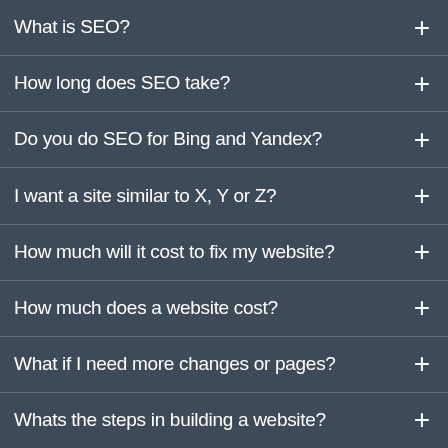What is SEO?
How long does SEO take?
Do you do SEO for Bing and Yandex?
I want a site similar to X, Y or Z?
How much will it cost to fix my website?
How much does a website cost?
What if I need more changes or pages?
Whats the steps in building a website?